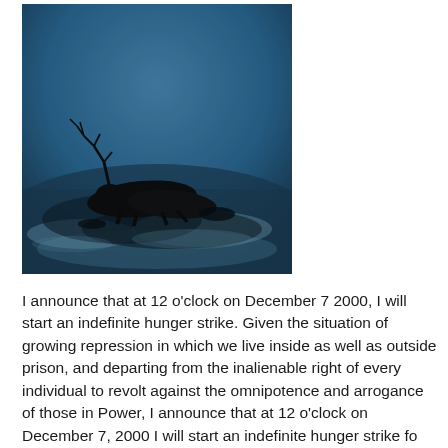[Figure (photo): A dark blue-toned photograph of a reindeer or caribou lying in a snowy landscape, with antlers visible against a cold twilight sky. The animal appears to be resting or dead in the snow.]
I announce that at 12 o'clock on December 7 2000, I will start an indefinite hunger strike. Given the situation of growing repression in which we live inside as well as outside prison, and departing from the inalienable right of every individual to revolt against the omnipotence and arrogance of those in Power, I announce that at 12 o'clock on December 7, 2000 I will start an indefinite hunger strike fo...